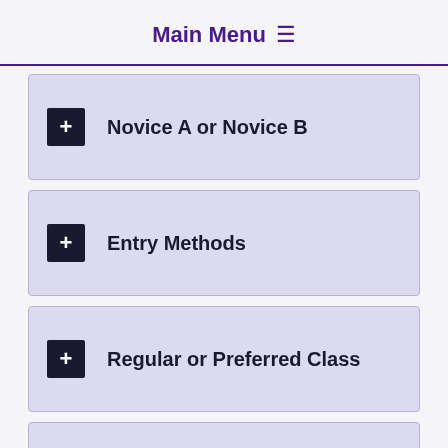Main Menu ≡
+ Novice A or Novice B
+ Entry Methods
+ Regular or Preferred Class
+ Jump Height Cards
+ General Briefing